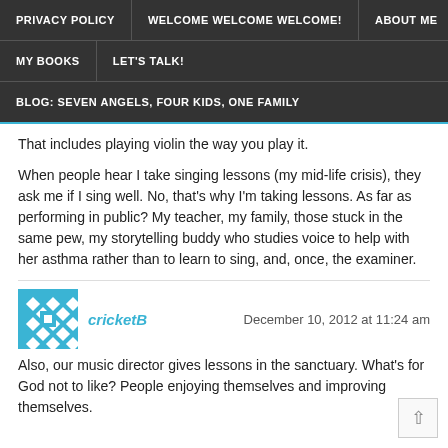PRIVACY POLICY | WELCOME WELCOME WELCOME! | ABOUT ME | MY BOOKS | LET'S TALK! | BLOG: SEVEN ANGELS, FOUR KIDS, ONE FAMILY
That includes playing violin the way you play it.
When people hear I take singing lessons (my mid-life crisis), they ask me if I sing well. No, that's why I'm taking lessons. As far as performing in public? My teacher, my family, those stuck in the same pew, my storytelling buddy who studies voice to help with her asthma rather than to learn to sing, and, once, the examiner.
cricketB — December 10, 2012 at 11:24 am
Also, our music director gives lessons in the sanctuary. What's for God not to like? People enjoying themselves and improving themselves.